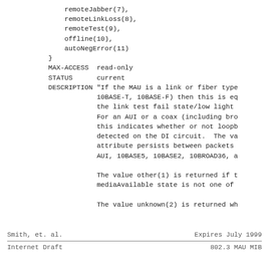remoteJabber(7),
                remoteLinkLoss(8),
                remoteTest(9),
                offline(10),
                autoNegError(11)
            }
 MAX-ACCESS  read-only
 STATUS      current
 DESCRIPTION "If the MAU is a link or fiber type
             10BASE-T, 10BASE-F) then this is eq
             the link test fail state/low light
             For an AUI or a coax (including bro
             this indicates whether or not loopb
             detected on the DI circuit.  The va
             attribute persists between packets
             AUI, 10BASE5, 10BASE2, 10BROAD36, a

             The value other(1) is returned if t
             mediaAvailable state is not one of

             The value unknown(2) is returned wh
Smith, et. al.          Expires July 1999
Internet Draft          802.3 MAU MIB